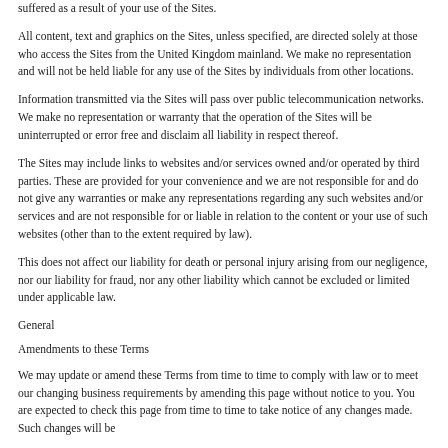suffered as a result of your use of the Sites.
All content, text and graphics on the Sites, unless specified, are directed solely at those who access the Sites from the United Kingdom mainland. We make no representation and will not be held liable for any use of the Sites by individuals from other locations.
Information transmitted via the Sites will pass over public telecommunication networks. We make no representation or warranty that the operation of the Sites will be uninterrupted or error free and disclaim all liability in respect thereof.
The Sites may include links to websites and/or services owned and/or operated by third parties. These are provided for your convenience and we are not responsible for and do not give any warranties or make any representations regarding any such websites and/or services and are not responsible for or liable in relation to the content or your use of such websites (other than to the extent required by law).
This does not affect our liability for death or personal injury arising from our negligence, nor our liability for fraud, nor any other liability which cannot be excluded or limited under applicable law.
General
Amendments to these Terms
We may update or amend these Terms from time to time to comply with law or to meet our changing business requirements by amending this page without notice to you. You are expected to check this page from time to time to take notice of any changes made. Such changes will be